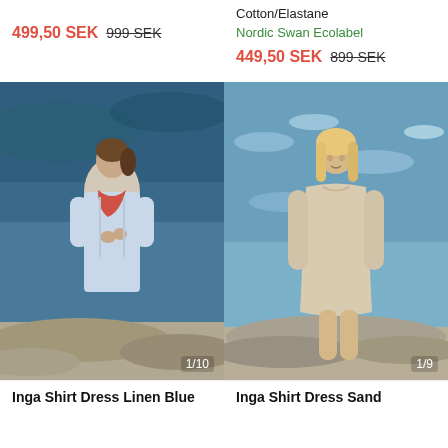Cotton/Elastane
Nordic Swan Ecolabel
499.50 SEK 999 SEK
449.50 SEK 899 SEK
[Figure (photo): Woman in light blue linen shirt dress standing on rocks by ocean, looking down, wearing a red scarf]
1/10
[Figure (photo): Blonde woman in sand/beige linen shirt dress standing on rocks by sparkling ocean, smiling]
1/9
Inga Shirt Dress Linen Blue
Inga Shirt Dress Sand